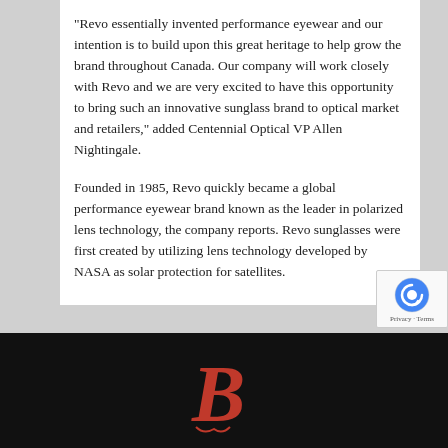“Revo essentially invented performance eyewear and our intention is to build upon this great heritage to help grow the brand throughout Canada. Our company will work closely with Revo and we are very excited to have this opportunity to bring such an innovative sunglass brand to optical market and retailers,” added Centennial Optical VP Allen Nightingale.
Founded in 1985, Revo quickly became a global performance eyewear brand known as the leader in polarized lens technology, the company reports. Revo sunglasses were first created by utilizing lens technology developed by NASA as solar protection for satellites.
This entry was posted in Milestone, Technology by Envision Magazine. Bookmark the permalink.
[Figure (logo): Stylized letter B logo in dark red/crimson on black background, resembling a Boston Red Sox style B letterform]